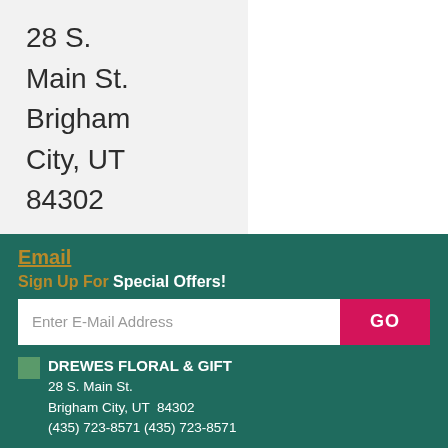28 S.
Main St.
Brigham
City, UT
84302
(435)
723-8571
Email
Sign Up For Special Offers!
Enter E-Mail Address
GO
DREWES FLORAL & GIFT
28 S. Main St.
Brigham City, UT  84302
(435) 723-8571  (435) 723-8571